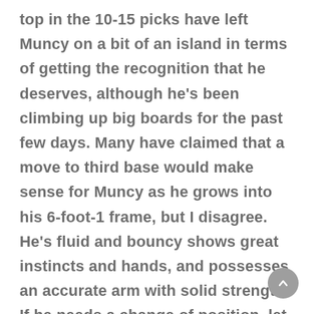top in the 10-15 picks have left Muncy on a bit of an island in terms of getting the recognition that he deserves, although he's been climbing up big boards for the past few days. Many have claimed that a move to third base would make sense for Muncy as he grows into his 6-foot-1 frame, but I disagree. He's fluid and bouncy shows great instincts and hands, and possesses an accurate arm with solid strength. If he needs a change of position, let him fail at short first instead of preemptively moving him. Of course, there is room to grow which is why Muncy will be a 2-3+ year project – emphasis on the plus.